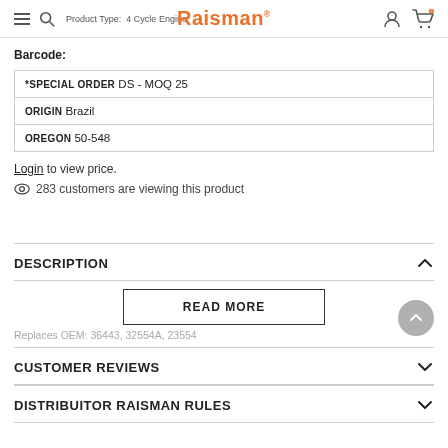Raisman | Product Type: 4 Cycle Engine
Barcode:
| *SPECIAL ORDER DS - MOQ 25 |
| ORIGIN Brazil |
| OREGON 50-548 |
Login to view price.
283 customers are viewing this product
DESCRIPTION
READ MORE
Replaces OEM: 36443, 32554A, 23554
CUSTOMER REVIEWS
DISTRIBUITOR RAISMAN RULES